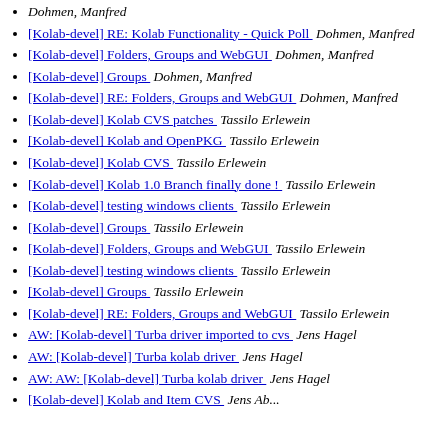Dohmen, Manfred
[Kolab-devel] RE: Kolab Functionality - Quick Poll  Dohmen, Manfred
[Kolab-devel] Folders, Groups and WebGUI  Dohmen, Manfred
[Kolab-devel] Groups  Dohmen, Manfred
[Kolab-devel] RE: Folders, Groups and WebGUI  Dohmen, Manfred
[Kolab-devel] Kolab CVS patches  Tassilo Erlewein
[Kolab-devel] Kolab and OpenPKG  Tassilo Erlewein
[Kolab-devel] Kolab CVS  Tassilo Erlewein
[Kolab-devel] Kolab 1.0 Branch finally done !  Tassilo Erlewein
[Kolab-devel] testing windows clients  Tassilo Erlewein
[Kolab-devel] Groups  Tassilo Erlewein
[Kolab-devel] Folders, Groups and WebGUI  Tassilo Erlewein
[Kolab-devel] testing windows clients  Tassilo Erlewein
[Kolab-devel] Groups  Tassilo Erlewein
[Kolab-devel] RE: Folders, Groups and WebGUI  Tassilo Erlewein
AW: [Kolab-devel] Turba driver imported to cvs  Jens Hagel
AW: [Kolab-devel] Turba kolab driver  Jens Hagel
AW: AW: [Kolab-devel] Turba kolab driver  Jens Hagel
[Kolab-devel] Kolab and Item CVS  Jens Ab...